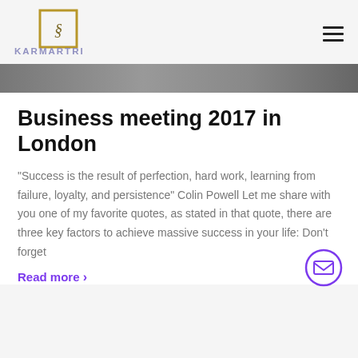[Figure (logo): Karmartri logo with golden square bracket frame and stylized letter, text KARMARTRI in purple-grey]
[Figure (photo): Cropped hero image showing blurred dark background, likely a person at a business meeting]
Business meeting 2017 in London
“Success is the result of perfection, hard work, learning from failure, loyalty, and persistence” Colin Powell Let me share with you one of my favorite quotes, as stated in that quote, there are three key factors to achieve massive success in your life: Don’t forget
Read more >